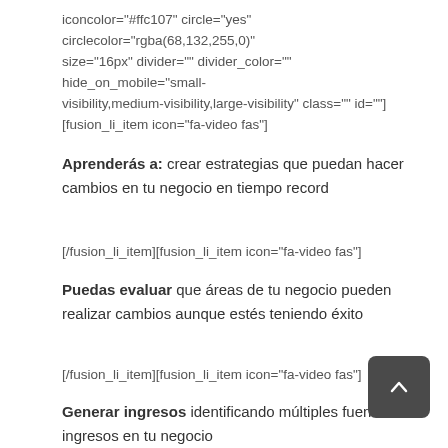iconcolor="#ffc107" circle="yes" circlecolor="rgba(68,132,255,0)" size="16px" divider="" divider_color="" hide_on_mobile="small-visibility,medium-visibility,large-visibility" class="" id=""] [fusion_li_item icon="fa-video fas"]
Aprenderás a: crear estrategias que puedan hacer cambios en tu negocio en tiempo record
[/fusion_li_item][fusion_li_item icon="fa-video fas"]
Puedas evaluar que áreas de tu negocio pueden realizar cambios aunque estés teniendo éxito
[/fusion_li_item][fusion_li_item icon="fa-video fas"]
Generar ingresos identificando múltiples fuentes de ingresos en tu negocio
[/fusion_li_item][fusion_li_item icon="fa-video fas"]
Llevar a tu negocio al éxito y realizar cambios único en las